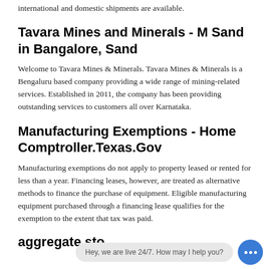international and domestic shipments are available.
Tavara Mines and Minerals - M Sand in Bangalore, Sand
Welcome to Tavara Mines & Minerals. Tavara Mines & Minerals is a Bengaluru based company providing a wide range of mining-related services. Established in 2011, the company has been providing outstanding services to customers all over Karnataka.
Manufacturing Exemptions - Home Comptroller.Texas.Gov
Manufacturing exemptions do not apply to property leased or rented for less than a year. Financing leases, however, are treated as alternative methods to finance the purchase of equipment. Eligible manufacturing equipment purchased through a financing lease qualifies for the exemption to the extent that tax was paid.
aggregate sto... karnataka